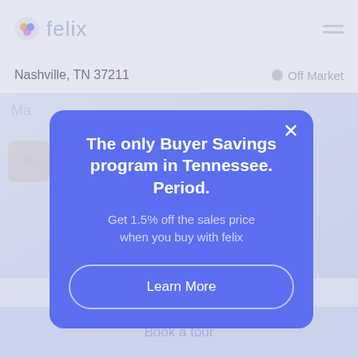felix
Nashville, TN 37211   Off Market
[Figure (screenshot): Felix real estate app background showing map/property content area faded behind modal]
The only Buyer Savings program in Tennessee. Period.
Get 1.5% off the sales price when you buy with felix
Learn More
Buy with felix and save 7,035. Learn More
Book a tour